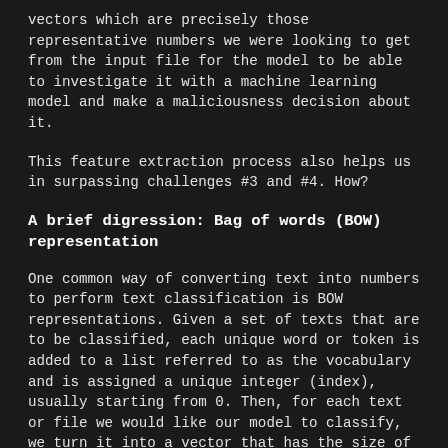vectors which are precisely those representative numbers we were looking to get from the input file for the model to be able to investigate it with a machine learning model and make a maliciousness decision about it.
This feature extraction process also helps us in surpassing challenges #3 and #4. How?
A brief digression: Bag of words (BOW) representation
One common way of converting text into numbers to perform text classification is BOW representations. Given a set of texts that are to be classified, each unique word or token is added to a list referred to as the vocabulary and is assigned a unique integer (index), usually starting from 0. Then, for each text or file we would like our model to classify, we turn it into a vector that has the size of the vocabulary. For each token in that text, we perform a lookup in the vocabulary, get its